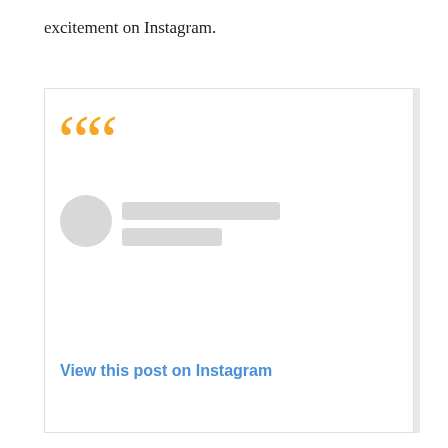excitement on Instagram.
[Figure (screenshot): An Instagram embedded post card with orange quotation marks at top left, a placeholder avatar circle and two gray placeholder name bars, and a blue 'View this post on Instagram' link at the bottom.]